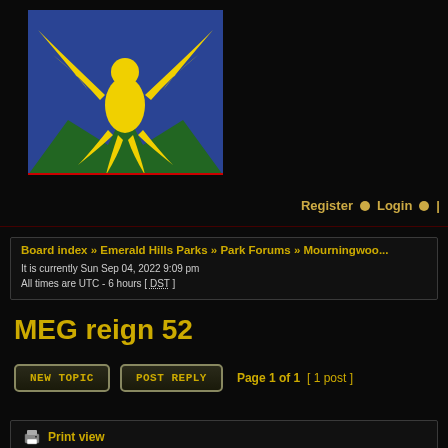[Figure (logo): Emerald Hills Parks logo: yellow phoenix bird with spread wings on blue background with green mountain shapes at the bottom]
Register • Login •
Board index » Emerald Hills Parks » Park Forums » Mourningwood
It is currently Sun Sep 04, 2022 9:09 pm
All times are UTC - 6 hours [ DST ]
MEG reign 52
New Topic   Post Reply   Page 1 of 1  [ 1 post ]
Print view